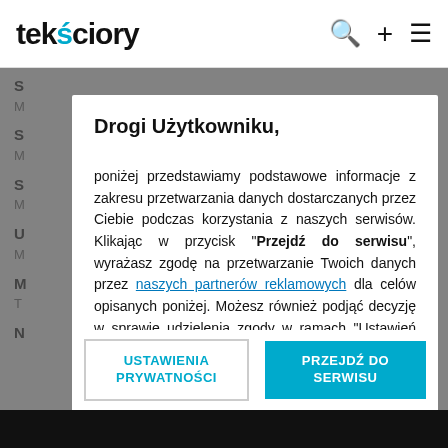teksciory
Drogi Użytkowniku,
poniżej przedstawiamy podstawowe informacje z zakresu przetwarzania danych dostarczanych przez Ciebie podczas korzystania z naszych serwisów. Klikając w przycisk "Przejdź do serwisu", wyrażasz zgodę na przetwarzanie Twoich danych przez naszych partnerów reklamowych dla celów opisanych poniżej. Możesz również podjąć decyzję w sprawie udzielenia zgody w ramach "Ustawień prywatności". Jeżeli chcesz podjąć tę decyzję przy innej okazji, to kliknij w przycisk
USTAWIENIA PRYWATNOŚCI
PRZEJDŹ DO SERWISU